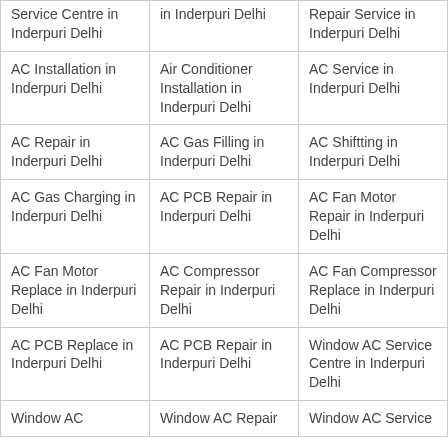| Service Centre in Inderpuri Delhi | in Inderpuri Delhi | Repair Service in Inderpuri Delhi |
| AC Installation in Inderpuri Delhi | Air Conditioner Installation in Inderpuri Delhi | AC Service in Inderpuri Delhi |
| AC Repair in Inderpuri Delhi | AC Gas Filling in Inderpuri Delhi | AC Shiftting in Inderpuri Delhi |
| AC Gas Charging in Inderpuri Delhi | AC PCB Repair in Inderpuri Delhi | AC Fan Motor Repair in Inderpuri Delhi |
| AC Fan Motor Replace in Inderpuri Delhi | AC Compressor Repair in Inderpuri Delhi | AC Fan Compressor Replace in Inderpuri Delhi |
| AC PCB Replace in Inderpuri Delhi | AC PCB Repair in Inderpuri Delhi | Window AC Service Centre in Inderpuri Delhi |
| Window AC | Window AC Repair | Window AC Service |